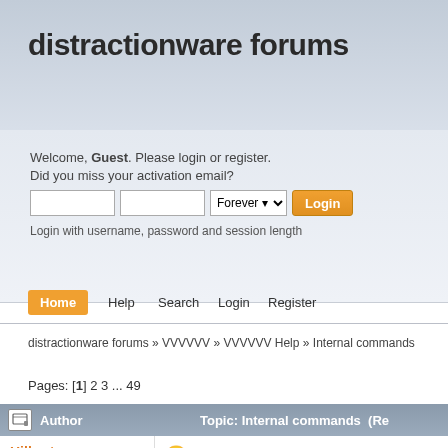distractionware forums
Welcome, Guest. Please login or register.
Did you miss your activation email?
Login with username, password and session length
Home
Help
Search
Login
Register
distractionware forums » VVVVVV » VVVVVV Help » Internal commands
Pages: [1] 2 3 ... 49
| Author | Topic: Internal commands  (Re |
| --- | --- |
| Hilbert
Captain
★★★★★ | Internal commands
« on: July 28, 2012, 01:23:29 pm »
Collect all internal commands here. |
Author   Topic: Internal commands  (Re
Hilbert
Captain
Internal commands
« on: July 28, 2012, 01:23:29 pm »
Collect all internal commands here.